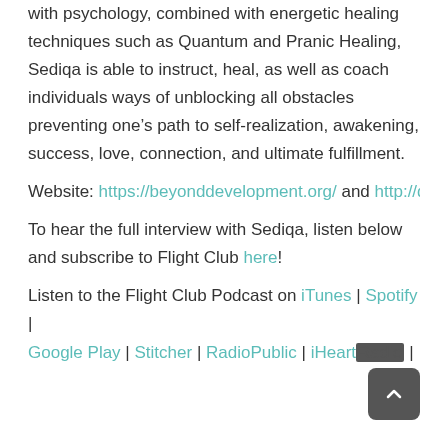with psychology, combined with energetic healing techniques such as Quantum and Pranic Healing, Sediqa is able to instruct, heal, as well as coach individuals ways of unblocking all obstacles preventing one's path to self-realization, awakening, success, love, connection, and ultimate fulfillment.
Website: https://beyonddevelopment.org/ and http://quant...
To hear the full interview with Sediqa, listen below and subscribe to Flight Club here!
Listen to the Flight Club Podcast on iTunes | Spotify | Google Play | Stitcher | RadioPublic | iHeartRadio |